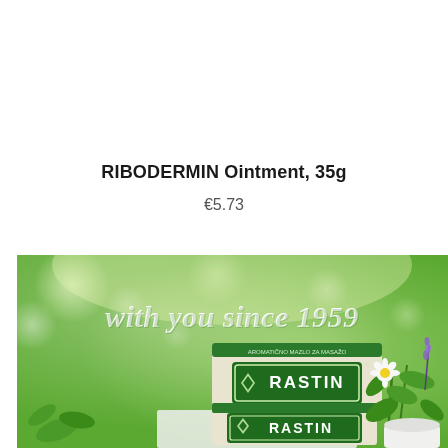RIBODERMIN Ointment, 35g
€5.73
[Figure (photo): Promotional banner image for RASTIN ointment product showing two green-and-white boxes/tubes of RASTIN (Aromatično mazlo za masažo) against a bokeh green background with herbs and flowers. Text overlay reads 'with you since 1959' in white italic script.]